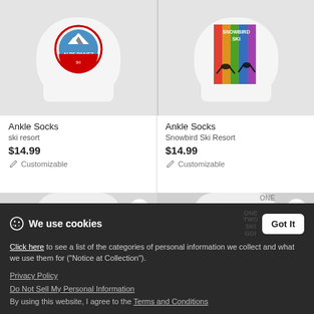[Figure (photo): Product listing: Ankle socks with Alpe D'Huez ski resort badge logo on white background]
Ankle Socks
ski resort
$14.99
Customizable
[Figure (photo): Product listing: Ankle socks with Snowbird Ski Resort colorful retro design on white background]
Ankle Socks
Snowbird Ski Resort
$14.99
Customizable
[Figure (photo): Partial product: ankle socks bottom row left card with heart/favorite button]
[Figure (photo): Partial product: ankle socks bottom row right card with heart/favorite button and ONE TWO SKI GO overlay]
We use cookies
Click here to see a list of the categories of personal information we collect and what we use them for ("Notice at Collection").
Privacy Policy
Do Not Sell My Personal Information
By using this website, I agree to the Terms and Conditions